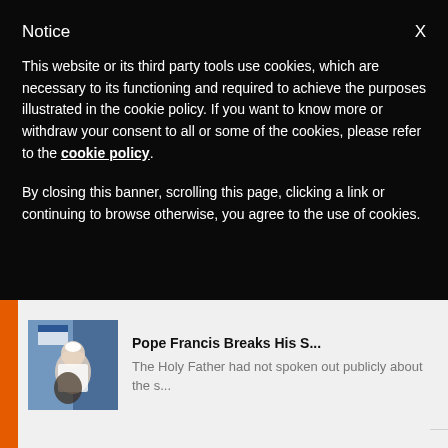Notice
This website or its third party tools use cookies, which are necessary to its functioning and required to achieve the purposes illustrated in the cookie policy. If you want to know more or withdraw your consent to all or some of the cookies, please refer to the cookie policy.
By closing this banner, scrolling this page, clicking a link or continuing to browse otherwise, you agree to the use of cookies.
[Figure (photo): Thumbnail photo of Pope Francis in a crowd with flags]
Pope Francis Breaks His S...
The Holy Father had not spoken out publicly about the s...